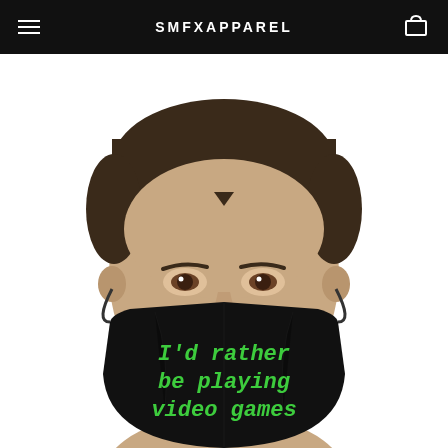SMFXAPPAREL
[Figure (photo): A man wearing a black face mask printed with green text reading 'I'd rather be playing video games', shown from forehead to chin against a white background.]